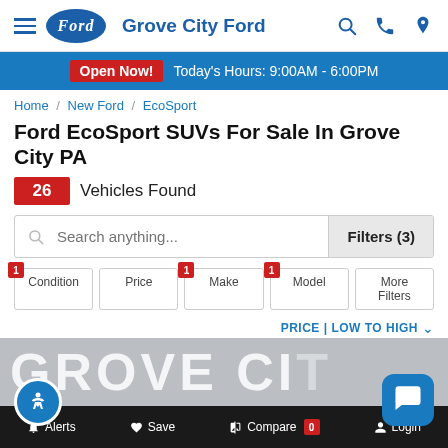Grove City Ford
Open Now! Today's Hours: 9:00AM - 6:00PM
Home / New Ford / EcoSport
Ford EcoSport SUVs For Sale In Grove City PA
26 Vehicles Found
Search anything...
Filters (3)
Condition | Price | Make | Model | More Filters
PRICE | LOW TO HIGH
Alerts  Save  Compare 0  Login